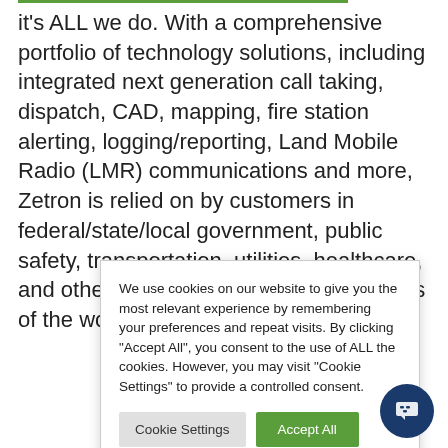it's ALL we do. With a comprehensive portfolio of technology solutions, including integrated next generation call taking, dispatch, CAD, mapping, fire station alerting, logging/reporting, Land Mobile Radio (LMR) communications and more, Zetron is relied on by customers in federal/state/local government, public safety, transportation, utilities, healthcare, and other markets on all seven continents of the world.
We use cookies on our website to give you the most relevant experience by remembering your preferences and repeat visits. By clicking “Accept All”, you consent to the use of ALL the cookies. However, you may visit "Cookie Settings" to provide a controlled consent.
[Figure (screenshot): Cookie consent dialog with 'Cookie Settings' and 'Accept All' buttons]
[Figure (illustration): Dark blue circular chat bubble button in bottom-right corner]